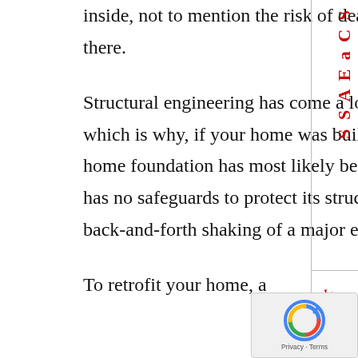inside, not to mention the risk of death or injury to all who live there.
Structural engineering has come a long way in the last 40 years, which is why, if your home was built before the mid-1970s, your home foundation has most likely been incorrectly installed and has no safeguards to protect its structure from the side-to-side and back-and-forth shaking of a major earthquake.
To retrofit your home, a